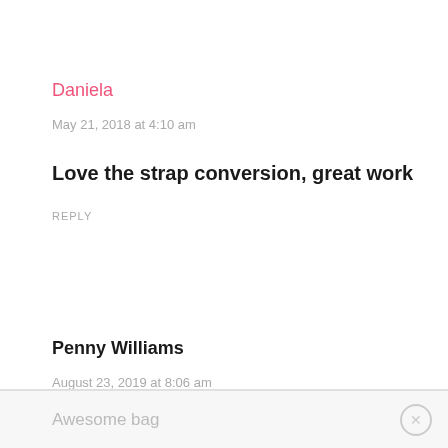Daniela
May 21, 2018 at 4:10 am
Love the strap conversion, great work
REPLY
Penny Williams
August 23, 2019 at 8:06 am
Awesome bag